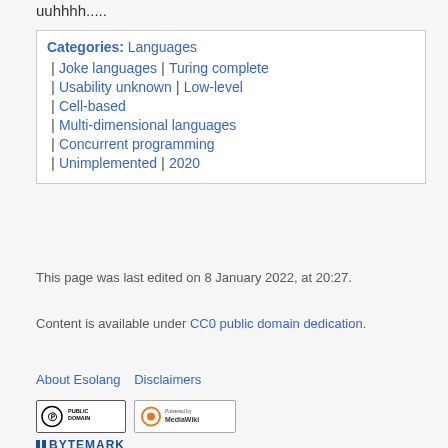uuhhhh.....
Categories: Languages | Joke languages | Turing complete | Usability unknown | Low-level | Cell-based | Multi-dimensional languages | Concurrent programming | Unimplemented | 2020
This page was last edited on 8 January 2022, at 20:27.
Content is available under CC0 public domain dedication.
About Esolang   Disclaimers
[Figure (logo): Public Domain and MediaWiki badges]
[Figure (logo): Bytemark logo]